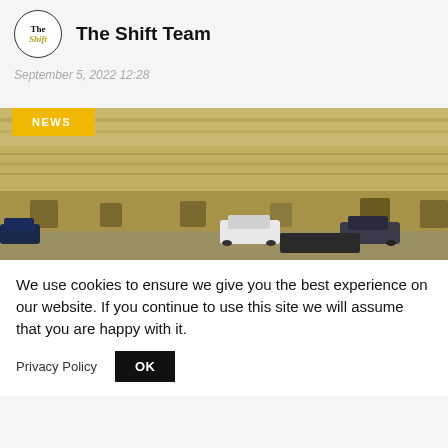The Shift Team
September 5, 2022 12:28
[Figure (photo): Photograph of a limestone or sandstone wall with parked cars in front; NEWS badge overlay in yellow]
We use cookies to ensure we give you the best experience on our website. If you continue to use this site we will assume that you are happy with it.
Privacy Policy   OK